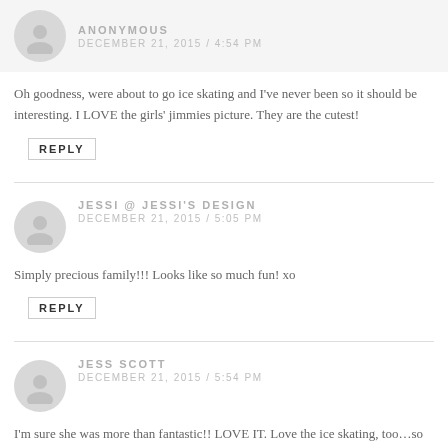ANONYMOUS
DECEMBER 21, 2015 / 4:54 PM
Oh goodness, were about to go ice skating and I've never been so it should be interesting. I LOVE the girls' jimmies picture. They are the cutest!
REPLY
JESSI @ JESSI'S DESIGN
DECEMBER 21, 2015 / 5:05 PM
Simply precious family!!! Looks like so much fun! xo
REPLY
JESS SCOTT
DECEMBER 21, 2015 / 5:54 PM
I'm sure she was more than fantastic!! LOVE IT. Love the ice skating, too…so fun and adorable!